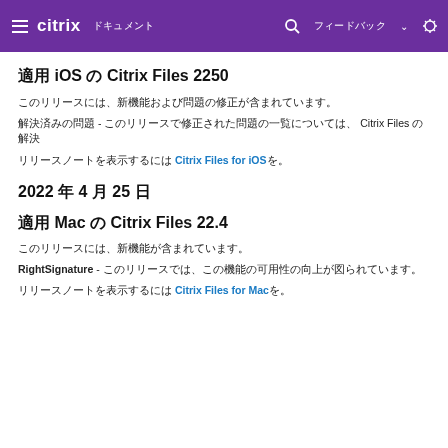citrix ドキュメント
適用 iOS の Citrix Files 2250
このリリースには、新機能および問題の修正が含まれています。
解決済みの問題 - このリリースで修正された問題の一覧については、 Citrix Files の解決
リリースノートを表示するには Citrix Files for iOSを。
2022 年 4 月 25 日
適用 Mac の Citrix Files 22.4
このリリースには、新機能が含まれています。
RightSignature - このリリースでは、この機能の可用性の向上が図られています。
リリースノートを表示するには Citrix Files for Macを。